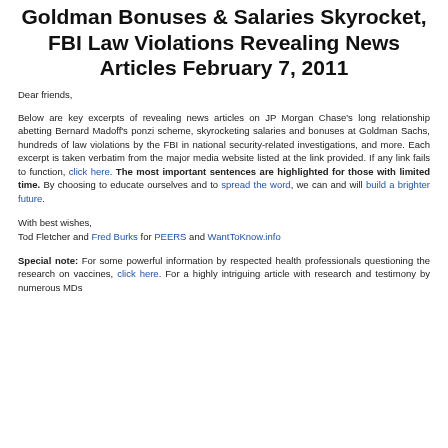Goldman Bonuses & Salaries Skyrocket, FBI Law Violations Revealing News Articles February 7, 2011
Dear friends,
Below are key excerpts of revealing news articles on JP Morgan Chase's long relationship abetting Bernard Madoff's ponzi scheme, skyrocketing salaries and bonuses at Goldman Sachs, hundreds of law violations by the FBI in national security-related investigations, and more. Each excerpt is taken verbatim from the major media website listed at the link provided. If any link fails to function, click here. The most important sentences are highlighted for those with limited time. By choosing to educate ourselves and to spread the word, we can and will build a brighter future.
With best wishes,
Tod Fletcher and Fred Burks for PEERS and WantToKnow.info
Special note: For some powerful information by respected health professionals questioning the research on vaccines, click here. For a highly intriguing article with research and testimony by numerous MDs